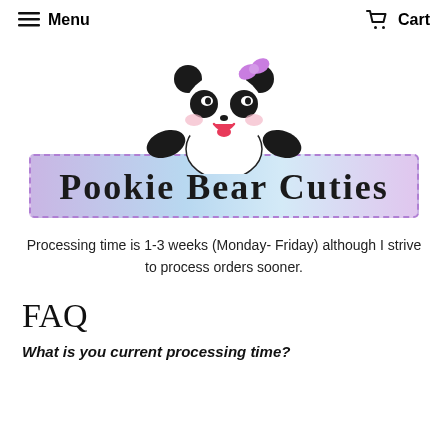Menu   Cart
[Figure (logo): Pookie Bear Cuties logo: cute panda illustration above a gradient banner with dashed border reading 'Pookie Bear Cuties']
Processing time is 1-3 weeks (Monday- Friday) although I strive to process orders sooner.
FAQ
What is you current processing time?